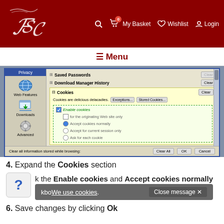[Figure (screenshot): Website header with dark red background showing FSC logo, search icon, My Basket (0 items), Wishlist, and Login navigation items]
[Figure (screenshot): Browser settings dialog showing Privacy panel with Saved Passwords, Download Manager History, and Cookies sections. Cookies section is expanded showing Enable cookies checked, Accept cookies normally radio selected, and other options.]
4. Expand the Cookies section
5. Click the Enable cookies and Accept cookies normally checkboxes
We use cookies. Close message ✕
6. Save changes by clicking Ok